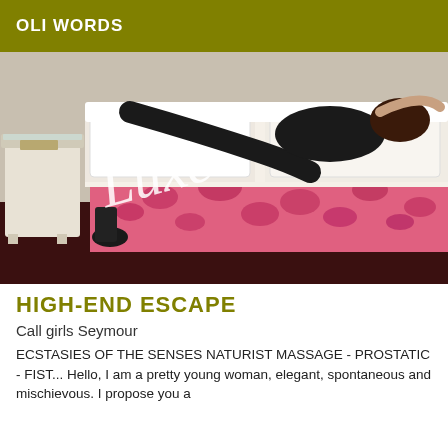OLI WORDS
[Figure (photo): A woman in black clothing lying on a bed with a pink floral bedspread, with a white nightstand visible in the background. A cursive watermark text overlay is present on the image.]
HIGH-END ESCAPE
Call girls Seymour
ECSTASIES OF THE SENSES NATURIST MASSAGE - PROSTATIC - FIST... Hello, I am a pretty young woman, elegant, spontaneous and mischievous. I propose you a